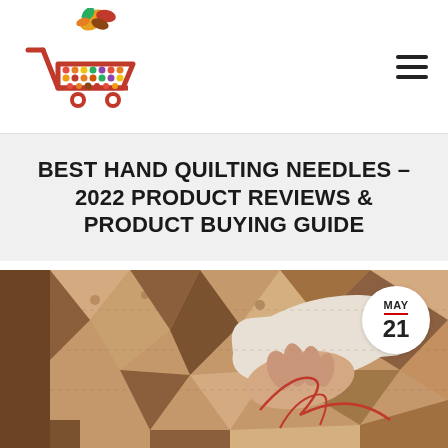[Figure (logo): Shopping cart logo with colorful dots/fruit design and butterfly/leaf icon on top, in red and multicolor]
[Figure (other): Hamburger menu icon (three horizontal lines) in top right corner]
BEST HAND QUILTING NEEDLES – 2022 PRODUCT REVIEWS & PRODUCT BUYING GUIDE
[Figure (photo): A hand stitching a quilt with a red thread on a brown and tan patterned fabric quilt, with a date badge showing MAY 21 in the top right corner of the image]